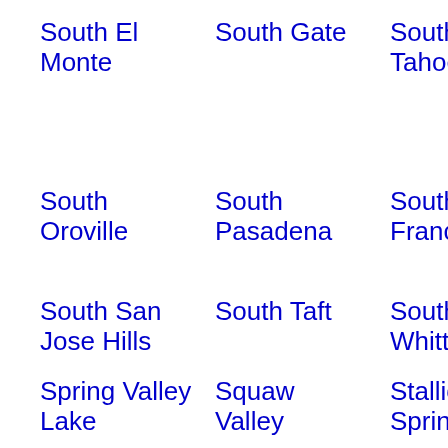South El Monte
South Gate
South Lake Tahoe
South Monr Island
South Oroville
South Pasadena
South San Francisco
South Gabr
South San Jose Hills
South Taft
South Whittier
Sprin
Spring Valley Lake
Squaw Valley
Stallion Springs
Stanf
Stanton
Stevenson Ranch
Stockton
Strat